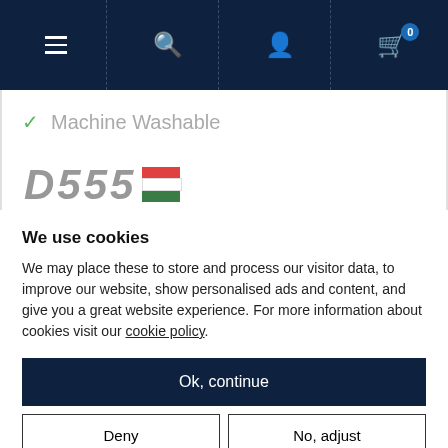[Figure (screenshot): Navigation bar with dark navy background showing hamburger menu icon, search icon, user account icon, and shopping cart icon with badge showing 0]
✓ Machine Washable
[Figure (logo): Partially visible logo text 'D555' with a flag graphic (red/white/green stripes)]
We use cookies
We may place these to store and process our visitor data, to improve our website, show personalised ads and content, and give you a great website experience. For more information about cookies visit our cookie policy.
Ok, continue
Deny
No, adjust